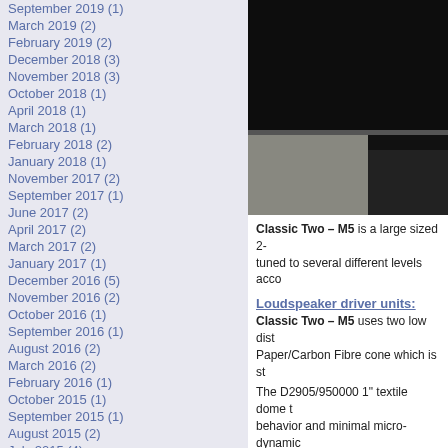September 2019 (1)
March 2019 (2)
February 2019 (2)
December 2018 (3)
November 2018 (3)
October 2018 (1)
April 2018 (1)
March 2018 (1)
February 2018 (2)
January 2018 (1)
November 2017 (2)
September 2017 (1)
June 2017 (2)
April 2017 (2)
March 2017 (2)
January 2017 (1)
December 2016 (5)
November 2016 (2)
October 2016 (1)
September 2016 (1)
August 2016 (2)
March 2016 (2)
February 2016 (1)
October 2015 (1)
September 2015 (1)
August 2015 (2)
July 2015 (4)
June 2015 (2)
May 2015 (4)
February 2015 (2)
January 2015 (1)
December 2014 (3)
October 2014 (4)
September 2014 (1)
July 2014 (1)
June 2014 (2)
May 2014 (3)
April 2014 (2)
[Figure (photo): Close-up photo of a loudspeaker, mostly dark/black with grey and beige elements visible]
Classic Two – M5 is a large sized 2- tuned to several different levels acco
Loudspeaker driver units:
Classic Two – M5 uses two low dist Paper/Carbon Fibre cone which is st
The D2905/950000 1" textile dome t behavior and minimal micro-dynamic
For further details see: